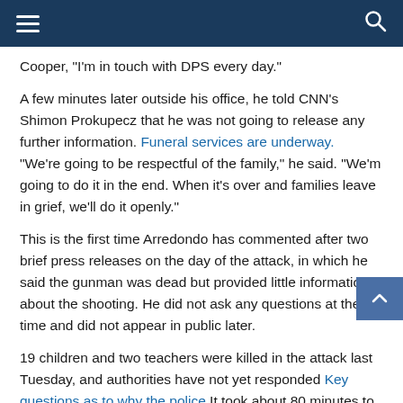Navigation bar with hamburger menu and search icon
Cooper, "I'm in touch with DPS every day."
A few minutes later outside his office, he told CNN's Shimon Prokupecz that he was not going to release any further information. Funeral services are underway. "We're going to be respectful of the family," he said. "We'm going to do it in the end. When it's over and families leave in grief, we'll do it openly."
This is the first time Arredondo has commented after two brief press releases on the day of the attack, in which he said the gunman was dead but provided little information about the shooting. He did not ask any questions at the time and did not appear in public later.
19 children and two teachers were killed in the attack last Tuesday, and authorities have not yet responded Key questions as to why the police It took about 80 minutes to break the two locked classroom doors and confront the gunman.